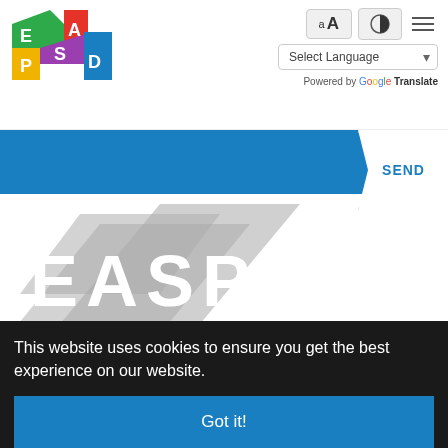[Figure (logo): EASPD colorful logo with letters E (green), A (red), S (purple), P (yellow), D (blue) on angular shapes]
[Figure (screenshot): Font size toggle button with small 'a' and large 'A']
[Figure (screenshot): Contrast toggle button with half-circle icon]
[Figure (screenshot): Hamburger menu icon (three horizontal lines)]
[Figure (screenshot): Select Language dropdown]
Powered by Google Translate
SEND
[Figure (logo): Large EASPD greyscale logo on white background]
This website uses cookies to ensure you get the best experience on our website.
Got it!